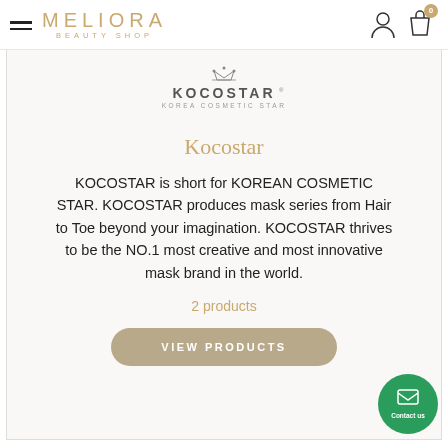MELIORA BEAUTY SHOP
[Figure (logo): KOCOSTAR Korea Cosmetic Star logo with crown icon]
Kocostar
KOCOSTAR is short for KOREAN COSMETIC STAR. KOCOSTAR produces mask series from Hair to Toe beyond your imagination. KOCOSTAR thrives to be the NO.1 most creative and most innovative mask brand in the world.
2 products
VIEW PRODUCTS